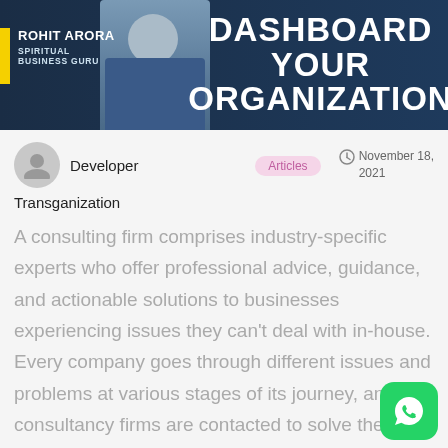[Figure (illustration): Banner with dark blue background showing a man in suit, yellow stripe, name 'ROHIT ARORA / SPIRITUAL / BUSINESS GURU' on left, and large white text 'DASHBOARD YOUR ORGANIZATION' on right]
Developer   Articles   November 18, 2021
Transganization
A consulting firm comprises industry-specific experts who offer professional advice, guidance, and actionable solutions to businesses experiencing issues they can't deal with in-house. Every company goes through different issues and problems at various stages of its journey, and consultancy firms are contacted to solve them. Executives generally reach out to consulting firms to send industry-specific experts, known as consultants, to observe analyze a company's operations. Consultants offer